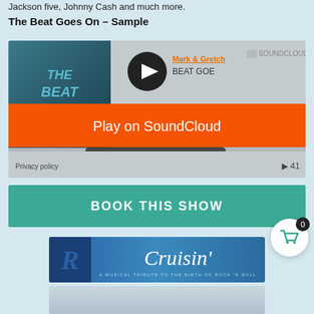Jackson five, Johnny Cash and much more.
The Beat Goes On – Sample
[Figure (screenshot): SoundCloud embedded player showing 'Mark & Gretch - BEAT GOE...' with play button, orange 'Play on SoundCloud' overlay button, 'Listen in browser' button, album art showing 'THE BEAT' text, Privacy policy link, and 41 plays count.]
BOOK THIS SHOW
[Figure (illustration): Cruisin' show banner - blue banner with stylized R logo on left and 'Cruisin'' italic script text with subtitle 'A MUSICAL TRIBUTE TO THE BIRTH OF ROCK 'N ROLL']